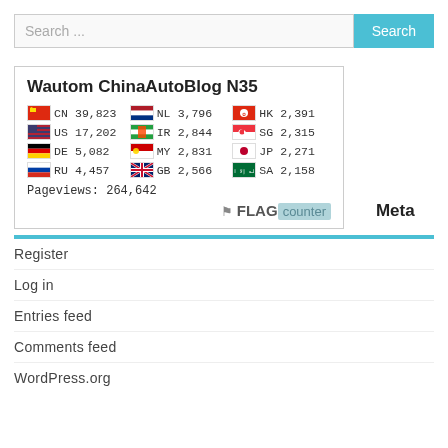Search ...
[Figure (infographic): Flag counter widget for Wautom ChinaAutoBlog N35 showing visitor counts by country: CN 39,823 | US 17,202 | DE 5,082 | RU 4,457 | NL 3,796 | IR 2,844 | MY 2,831 | GB 2,566 | HK 2,391 | SG 2,315 | JP 2,271 | SA 2,158. Pageviews: 264,642]
Meta
Register
Log in
Entries feed
Comments feed
WordPress.org